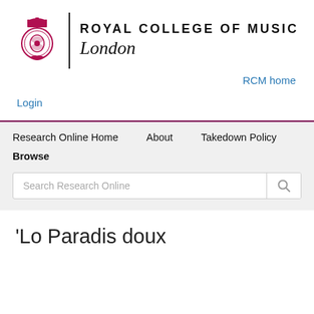[Figure (logo): Royal College of Music London logo with red heraldic emblem, vertical divider, bold RCM title and italic London script]
RCM home
Login
Research Online Home   About   Takedown Policy
Browse
Search Research Online
'Lo Paradis doux